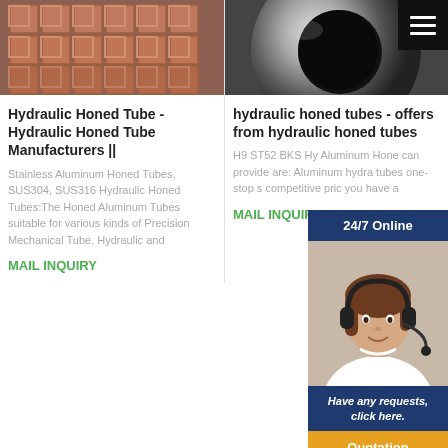[Figure (photo): Photo of pink/terracotta square tube cross-sections stacked together]
[Figure (photo): Photo of a large steel cylindrical honed tube, dark metallic surface]
Hydraulic Honed Tube - Hydraulic Honed Tube Manufacturers ||
hydraulic honed tubes - offers from hydraulic honed tubes
Stainless Aluminum Honed Tubes, SUS304, SUS316 Hydraulic Honed Tubes:The Honed Aluminum Tubes suitable for various kinds of Precision Mechanical Tube, Hydraulic and
H9 ST52 BKS Hy Aluminum Hone can provide are: Aluminum hydra tubes one-stop s competitive pric you have a
MAIL INQUIRY
MAIL INQUIR
[Figure (infographic): 24/7 Online chat widget with agent photo, 'Have any requests, click here.' text and Quotation button]